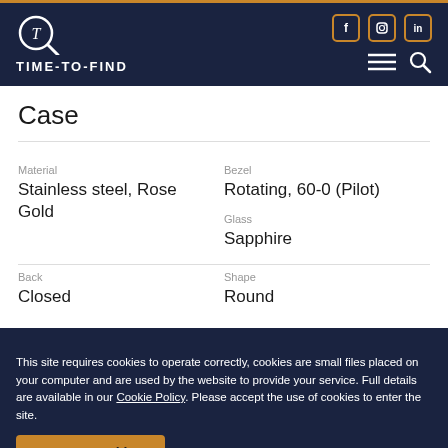TIME-TO-FIND
Case
| Field | Value |
| --- | --- |
| Material | Stainless steel, Rose Gold |
| Bezel | Rotating, 60-0 (Pilot) |
| Glass | Sapphire |
| Back | Closed |
| Shape | Round |
This site requires cookies to operate correctly, cookies are small files placed on your computer and are used by the website to provide your service. Full details are available in our Cookie Policy. Please accept the use of cookies to enter the site.
Accept Cookies